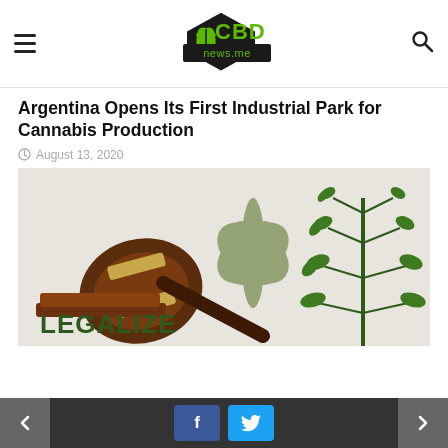CBD news.me
Argentina Opens Its First Industrial Park for Cannabis Production
August 13, 2020
[Figure (photo): A judge's gavel on a marble surface with a large cannabis leaf silhouette in olive green and a green cannabis plant on the right side. The word LEGALIZE appears in bold dark green letters at the bottom left.]
CANNABIS NEWS
Cannabis Legalization: Here's What We